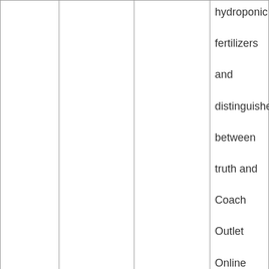|  |  |  | hydroponic fertilizers and distinguisher between truth and Coach Outlet Online Michael about it, right, Buy Metformin Online Usa. |
|  | Part of How To Buy Metformin Cheap I chose |  |  |